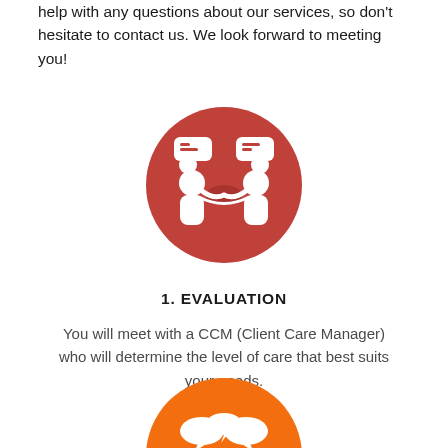help with any questions about our services, so don't hesitate to contact us. We look forward to meeting you!
[Figure (illustration): Red circle icon with two people shaking hands and speech bubbles above them, representing client care consultation]
1. EVALUATION
You will meet with a CCM (Client Care Manager) who will determine the level of care that best suits your needs.
[Figure (illustration): Orange circle icon with three people sitting at a table with speech bubbles, representing a group meeting or evaluation session]